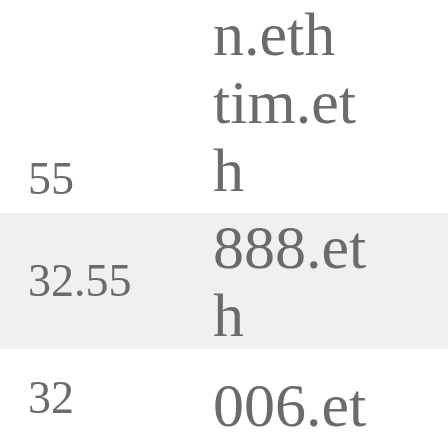| Number | Name |
| --- | --- |
| 55 | n.eth tim.eth |
| 32.55 | 888.eth |
| 32 | 006.eth mystic.eth |
| 31 | market.eth |